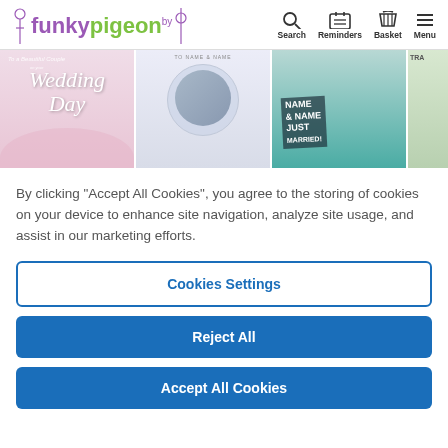[Figure (screenshot): Funky Pigeon website header with logo and navigation icons for Search, Reminders, Basket, and Menu]
[Figure (photo): Banner showing four wedding card product images side by side]
By clicking “Accept All Cookies”, you agree to the storing of cookies on your device to enhance site navigation, analyze site usage, and assist in our marketing efforts.
Cookies Settings
Reject All
Accept All Cookies